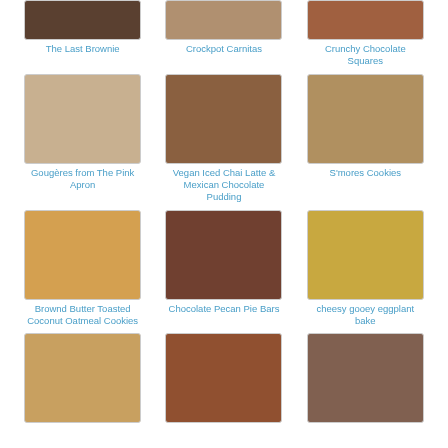[Figure (photo): The Last Brownie - food photo]
The Last Brownie
[Figure (photo): Crockpot Carnitas - food photo]
Crockpot Carnitas
[Figure (photo): Crunchy Chocolate Squares - food photo]
Crunchy Chocolate Squares
[Figure (photo): Gougères from The Pink Apron - food photo]
Gougères from The Pink Apron
[Figure (photo): Vegan Iced Chai Latte & Mexican Chocolate Pudding - food photo]
Vegan Iced Chai Latte & Mexican Chocolate Pudding
[Figure (photo): S'mores Cookies - food photo]
S'mores Cookies
[Figure (photo): Brownd Butter Toasted Coconut Oatmeal Cookies - food photo]
Brownd Butter Toasted Coconut Oatmeal Cookies
[Figure (photo): Chocolate Pecan Pie Bars - food photo]
Chocolate Pecan Pie Bars
[Figure (photo): cheesy gooey eggplant bake - food photo]
cheesy gooey eggplant bake
[Figure (photo): Row 4 left - food photo]
[Figure (photo): Row 4 middle - food photo]
[Figure (photo): Row 4 right - food photo]